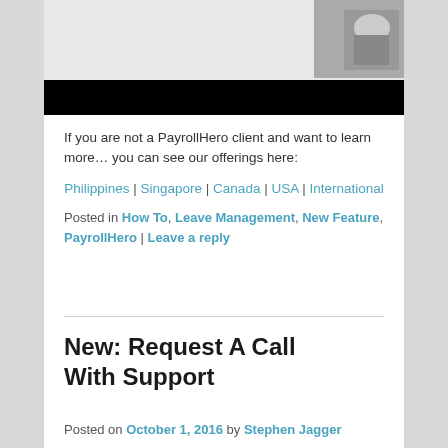[Figure (screenshot): Top image area with light grey background and a dark hand/person photograph in the upper right corner, followed by a black bar below]
If you are not a PayrollHero client and want to learn more… you can see our offerings here:
Philippines | Singapore | Canada | USA | International
Posted in How To, Leave Management, New Feature, PayrollHero | Leave a reply
New: Request A Call With Support
Posted on October 1, 2016 by Stephen Jagger